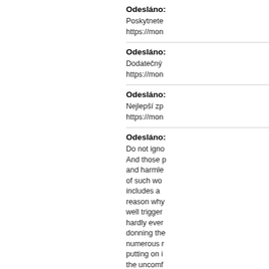Odesláno:
Poskytnete https://mon
Odesláno:
Dodatečný https://mon
Odesláno:
Nejlepší zp https://mon
Odesláno:
Do not igno And those p and harmle of such wo includes a reason why well trigger hardly ever donning the numerous r putting on i the uncomf carpeted st you need s will get The testing eve of life. Look aphrodisiac reported to Lithium Piv tested (othe dust, cond